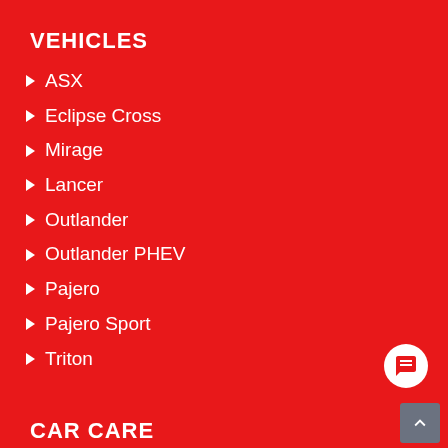VEHICLES
ASX
Eclipse Cross
Mirage
Lancer
Outlander
Outlander PHEV
Pajero
Pajero Sport
Triton
CAR CARE